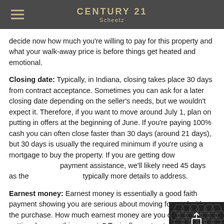CENTURY 21 Scheetz
decide now how much you're willing to pay for this property and what your walk-away price is before things get heated and emotional.
Closing date: Typically, in Indiana, closing takes place 30 days from contract acceptance. Sometimes you can ask for a later closing date depending on the seller's needs, but we wouldn't expect it. Therefore, if you want to move around July 1, plan on putting in offers at the beginning of June. If you're paying 100% cash you can often close faster than 30 days (around 21 days), but 30 days is usually the required minimum if you're using a mortgage to buy the property. If you are getting down payment assistance, we'll likely need 45 days as there are typically more details to address.
Earnest money: Earnest money is essentially a good faith payment showing you are serious about moving forward with the purchase. How much earnest money are you comfortable putting down on this property? Typically, contracts in Indiana ask for 1% of the purchase